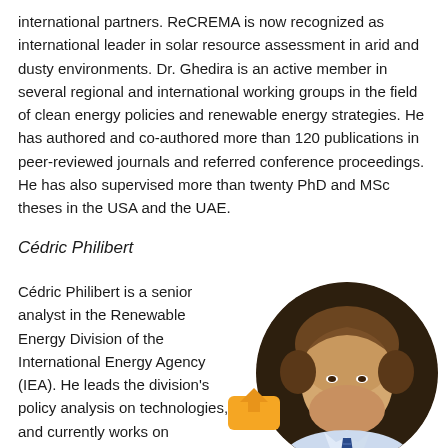international partners. ReCREMA is now recognized as international leader in solar resource assessment in arid and dusty environments. Dr. Ghedira is an active member in several regional and international working groups in the field of clean energy policies and renewable energy strategies. He has authored and co-authored more than 120 publications in peer-reviewed journals and referred conference proceedings. He has also supervised more than twenty PhD and MSc theses in the USA and the UAE.
Cédric Philibert
Cédric Philibert is a senior analyst in the Renewable Energy Division of the International Energy Agency (IEA). He leads the division's policy analysis on technologies, and currently works on renewable energy
[Figure (photo): Circular headshot portrait of Cédric Philibert, a man with brown hair, wearing a light blue shirt and tie, photographed against a dark background.]